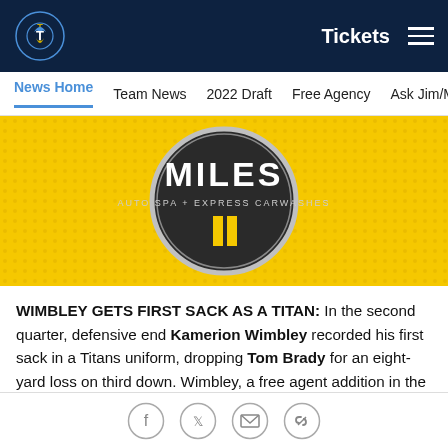Tickets  ☰
News Home  Team News  2022 Draft  Free Agency  Ask Jim/Ma
[Figure (photo): Miles Auto Spa + Express Carwashes circular logo on yellow background with two yellow vertical stripes]
WIMBLEY GETS FIRST SACK AS A TITAN: In the second quarter, defensive end Kamerion Wimbley recorded his first sack in a Titans uniform, dropping Tom Brady for an eight-yard loss on third down. Wimbley, a free agent addition in the offseason, now has 43.5 career sacks with the Browns, Raiders and Titans.